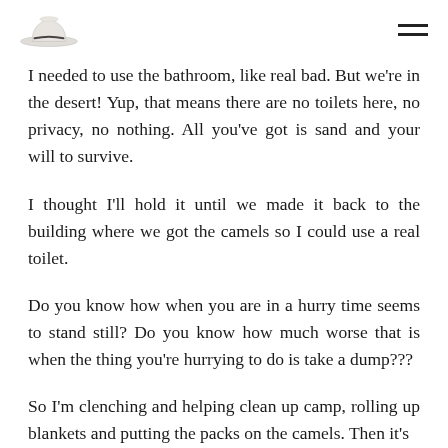[hat logo] [hamburger menu]
I needed to use the bathroom, like real bad. But we're in the desert! Yup, that means there are no toilets here, no privacy, no nothing. All you've got is sand and your will to survive.
I thought I'll hold it until we made it back to the building where we got the camels so I could use a real toilet.
Do you know how when you are in a hurry time seems to stand still? Do you know how much worse that is when the thing you're hurrying to do is take a dump???
So I'm clenching and helping clean up camp, rolling up blankets and putting the packs on the camels. Then it's